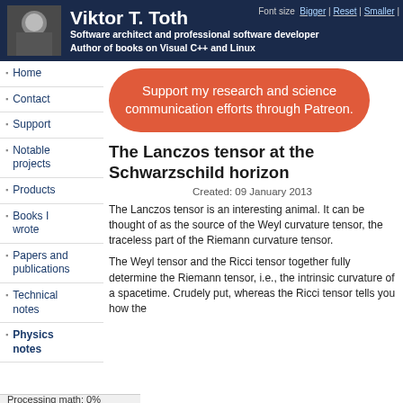Viktor T. Toth — Software architect and professional software developer. Author of books on Visual C++ and Linux
Home
Contact
Support
Notable projects
Products
Books I wrote
Papers and publications
Technical notes
Physics notes
[Figure (other): Orange rounded pill-shaped button: Support my research and science communication efforts through Patreon.]
The Lanczos tensor at the Schwarzschild horizon
Created: 09 January 2013
The Lanczos tensor is an interesting animal. It can be thought of as the source of the Weyl curvature tensor, the traceless part of the Riemann curvature tensor.
The Weyl tensor and the Ricci tensor together fully determine the Riemann tensor, i.e., the intrinsic curvature of a spacetime. Crudely put, whereas the Ricci tensor tells you how the
Processing math: 0%